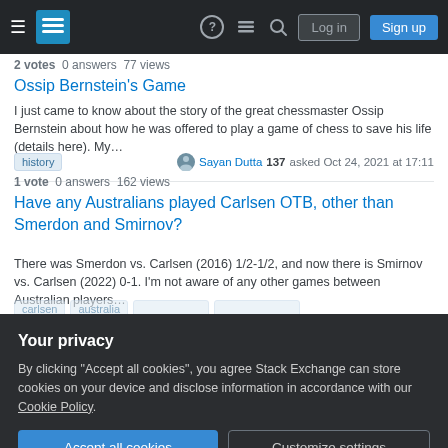Stack Exchange navigation bar with Log in and Sign up buttons
2 votes  0 answers  77 views
Ossip Bernstein's Game
I just came to know about the story of the great chessmaster Ossip Bernstein about how he was offered to play a game of chess to save his life (details here). My...
history   Sayan Dutta 137 asked Oct 24, 2021 at 17:11
1 vote  0 answers  162 views
Have any Australians played Carlsen OTB, other than Smerdon and Smirnov?
There was Smerdon vs. Carlsen (2016) 1/2-1/2, and now there is Smirnov vs. Carlsen (2022) 0-1. I'm not aware of any other games between Australian players...
Your privacy
By clicking "Accept all cookies", you agree Stack Exchange can store cookies on your device and disclose information in accordance with our Cookie Policy.
Accept all cookies   Customize settings
are really not re-rolled (positive, instead of normative). The answer is yes, it really i...